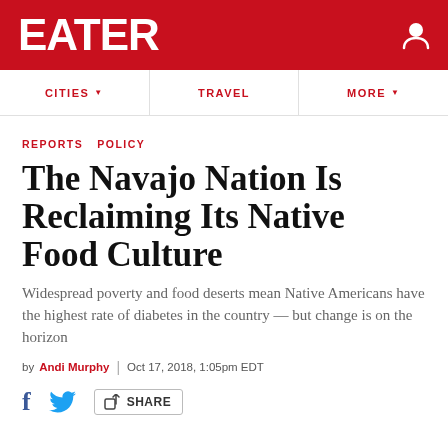EATER
CITIES  TRAVEL  MORE
REPORTS  POLICY
The Navajo Nation Is Reclaiming Its Native Food Culture
Widespread poverty and food deserts mean Native Americans have the highest rate of diabetes in the country — but change is on the horizon
by Andi Murphy | Oct 17, 2018, 1:05pm EDT
SHARE